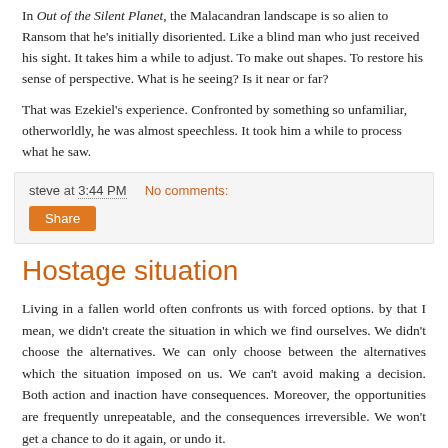In Out of the Silent Planet, the Malacandran landscape is so alien to Ransom that he's initially disoriented. Like a blind man who just received his sight. It takes him a while to adjust. To make out shapes. To restore his sense of perspective. What is he seeing? Is it near or far?
That was Ezekiel's experience. Confronted by something so unfamiliar, otherworldly, he was almost speechless. It took him a while to process what he saw.
steve at 3:44 PM   No comments:   Share
Hostage situation
Living in a fallen world often confronts us with forced options. by that I mean, we didn't create the situation in which we find ourselves. We didn't choose the alternatives. We can only choose between the alternatives which the situation imposed on us. We can't avoid making a decision. Both action and inaction have consequences. Moreover, the opportunities are frequently unrepeatable, and the consequences irreversible. We won't get a chance to do it again, or undo it.